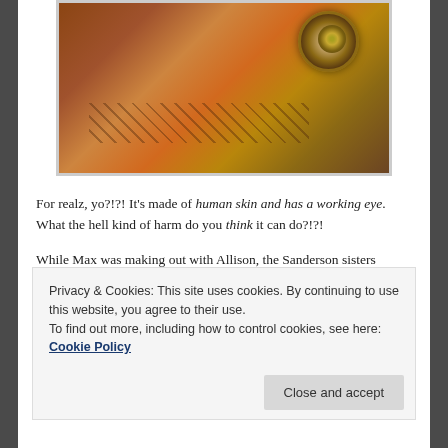[Figure (photo): Close-up photograph of a leather-bound book with stitching and a decorative eye clasp on the cover, appearing to be made of aged or textured leather with an ornate circular eye-shaped metal clasp/buckle.]
For realz, yo?!?! It's made of human skin and has a working eye. What the hell kind of harm do you think it can do?!?!
While Max was making out with Allison, the Sanderson sisters acquired some more children…
Privacy & Cookies: This site uses cookies. By continuing to use this website, you agree to their use.
To find out more, including how to control cookies, see here: Cookie Policy
Close and accept